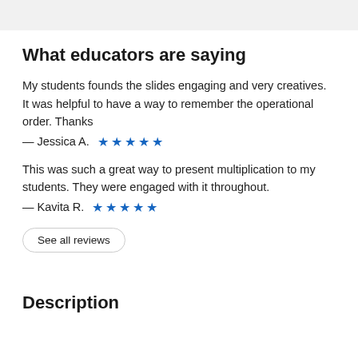What educators are saying
My students founds the slides engaging and very creatives. It was helpful to have a way to remember the operational order. Thanks
— Jessica A. ★★★★★
This was such a great way to present multiplication to my students. They were engaged with it throughout.
— Kavita R. ★★★★★
See all reviews
Description